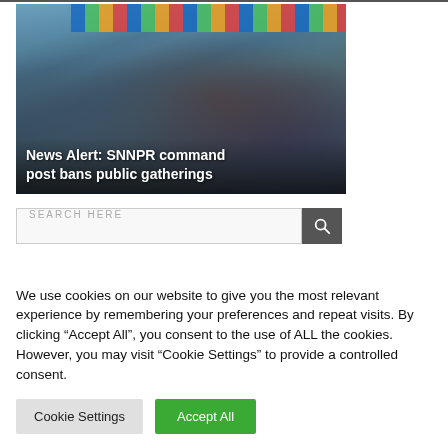[Figure (photo): A large crowd of people seated at what appears to be a public gathering or conference hall, with colorful diamond-patterned banner at the top. Overlaid white text reads: News Alert: SNNPR command post bans public gatherings.]
News Alert: SNNPR command post bans public gatherings
SEARCH HERE
We use cookies on our website to give you the most relevant experience by remembering your preferences and repeat visits. By clicking “Accept All”, you consent to the use of ALL the cookies. However, you may visit "Cookie Settings" to provide a controlled consent.